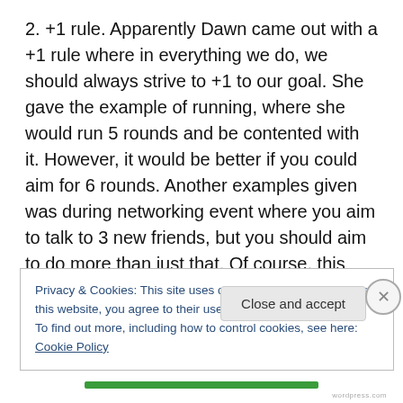2. +1 rule. Apparently Dawn came out with a +1 rule where in everything we do, we should always strive to +1 to our goal. She gave the example of running, where she would run 5 rounds and be contented with it. However, it would be better if you could aim for 6 rounds. Another examples given was during networking event where you aim to talk to 3 new friends, but you should aim to do more than just that. Of course, this requires high level of determination and discipline, and is often easier said than done, but always reward nicely.
Privacy & Cookies: This site uses cookies. By continuing to use this website, you agree to their use.
To find out more, including how to control cookies, see here: Cookie Policy
Close and accept